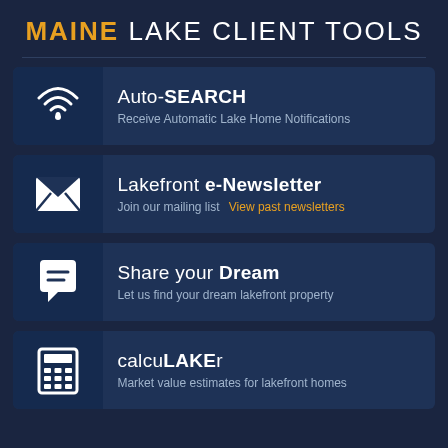MAINE LAKE CLIENT TOOLS
Auto-SEARCH — Receive Automatic Lake Home Notifications
Lakefront e-Newsletter — Join our mailing list   View past newsletters
Share your Dream — Let us find your dream lakefront property
calcuLAKEr — Market value estimates for lakefront homes